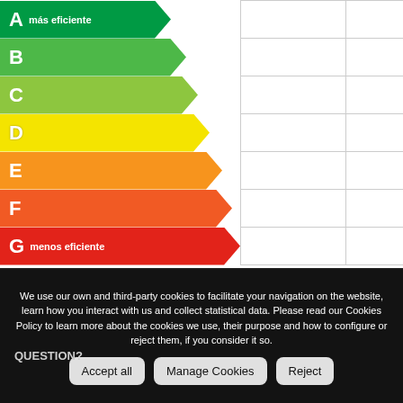[Figure (infographic): Energy efficiency rating chart with arrow-shaped color-coded bars labeled A (más eficiente) through G (menos eficiente), with empty columns to the right forming a table grid.]
Situation
We use our own and third-party cookies to facilitate your navigation on the website, learn how you interact with us and collect statistical data. Please read our Cookies Policy to learn more about the cookies we use, their purpose and how to configure or reject them, if you consider it so.
QUESTION?